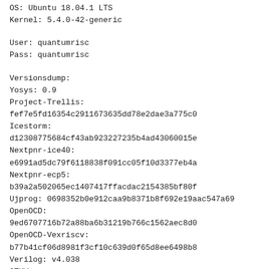OS: Ubuntu 18.04.1 LTS
Kernel: 5.4.0-42-generic
User: quantumrisc
Pass: quantumrisc
Versionsdump:
Yosys: 0.9
Project-Trellis:
fef7e5fd16354c2911673635dd78e2dae3a775c0
Icestorm:
d12308775684cf43ab923227235b4ad43060015e
Nextpnr-ice40:
e6991ad5dc79f6118838f091cc05f10d3377eb4a
Nextpnr-ecp5:
b39a2a502065ec1407417ffacdac2154385bf80f
Ujprog: 0698352b0e912caa9b8371b8f692e19aac547a69
OpenOCD:
9ed6707716b72a88ba6b31219b766c1562aec8d0
OpenOCD-Vexriscv:
b77b41cf06d8981f3cf10c639d0f65d8ee6498b8
Verilog: v4.038
GTKWave: